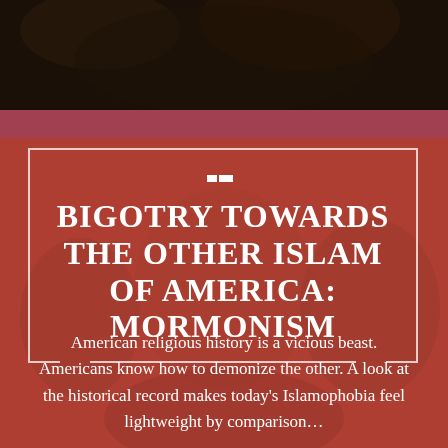[Figure (photo): Dark historical illustrated background with figures in conflict, overlaid with a deep red-brown tint]
BIGOTRY TOWARDS THE OTHER ISLAM OF AMERICA: MORMONISM
American religious history is a vicious beast. Americans know how to demonize the other. A look at the historical record makes today's Islamophobia feel lightweight by comparison...